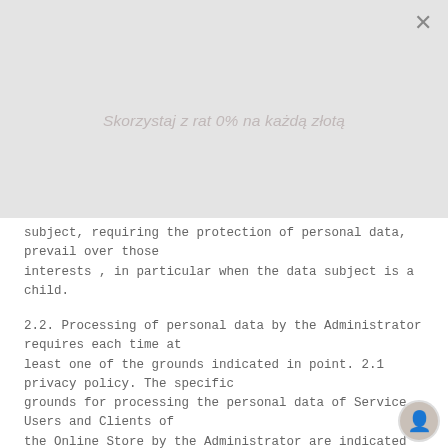[Figure (other): Gray modal overlay with close X button and faded promotional headline text: Skorzystaj z rat 0% na każdą złotą]
subject, requiring the protection of personal data, prevail over those interests , in particular when the data subject is a child.
2.2. Processing of personal data by the Administrator requires each time at least one of the grounds indicated in point. 2.1 privacy policy. The specific grounds for processing the personal data of Service Users and Clients of the Online Store by the Administrator are indicated in the next section of the privacy policy – in relation to the given purpose of personal data processing by the Administrator.
3. PURPOSE, BASIS, PERIOD AND SCOPE OF DATA PROCESSING IN THE ONLINE STORE
3.1 Each time the purpose, basis, period and scope of use and recipients personal data processed by the Administrator results from actions taken by a given Customer or Client in the Online Store. For example, if the Customer decides to make purchases in the Online Shop and selects a